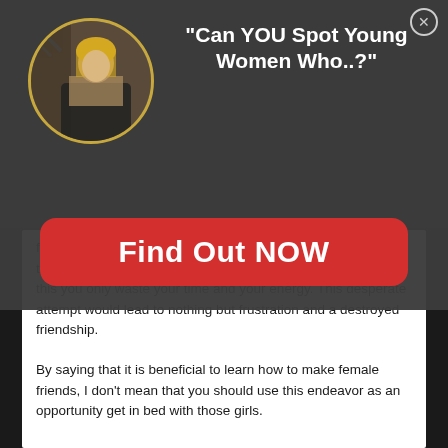[Figure (photo): Circular profile photo of a woman in a dark overlay popup advertisement]
"Can YOU Spot Young Women Who..?"
friends with a girl, just to hit on her later. This "pick up technique" has never worked and will never work.  By doing this you only waste your time and your energy. This desperate attempt would lead to nothing but frustration and a destroyed friendship.
By saying that it is beneficial to learn how to make female friends, I don't mean that you should use this endeavor as an opportunity get in bed with those girls.
[Figure (infographic): Red CTA button reading 'Find Out NOW']